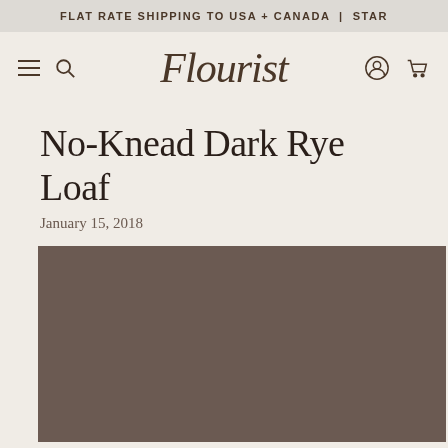FLAT RATE SHIPPING TO USA + CANADA | STAR
[Figure (logo): Flourist brand logo in italic script font]
No-Knead Dark Rye Loaf
January 15, 2018
[Figure (photo): Dark brownish-grey placeholder image for No-Knead Dark Rye Loaf]
Social icons: Facebook, Twitter, Pinterest, Link